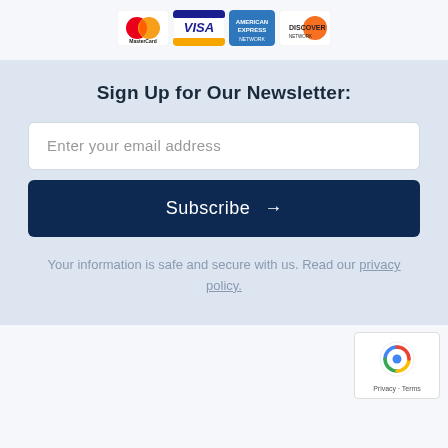[Figure (logo): Credit card logos: MasterCard, Visa, American Express, Discover]
Sign Up for Our Newsletter:
Enter your email address
Subscribe →
Your information is safe and secure with us. Read our privacy policy.
[Figure (logo): reCAPTCHA badge with Privacy and Terms labels]